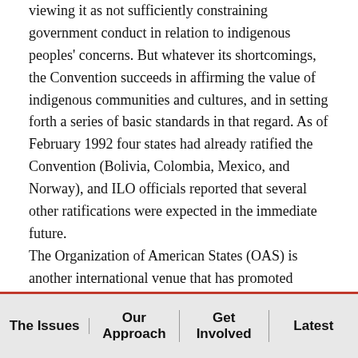viewing it as not sufficiently constraining government conduct in relation to indigenous peoples' concerns. But whatever its shortcomings, the Convention succeeds in affirming the value of indigenous communities and cultures, and in setting forth a series of basic standards in that regard. As of February 1992 four states had already ratified the Convention (Bolivia, Colombia, Mexico, and Norway), and ILO officials reported that several other ratifications were expected in the immediate future.

The Organization of American States (OAS) is another international venue that has promoted international norms concerning indigenous peoples. In 1973 the OAS
The Issues | Our Approach | Get Involved | Latest